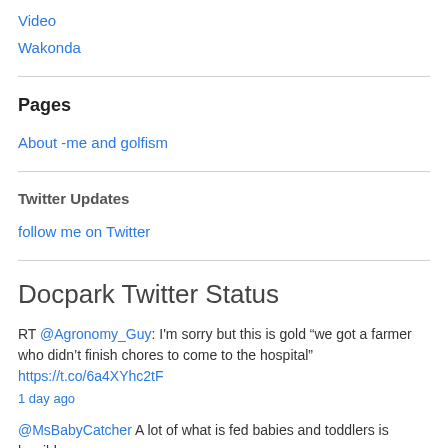Video
Wakonda
Pages
About -me and golfism
Twitter Updates
follow me on Twitter
Docpark Twitter Status
RT @Agronomy_Guy: I'm sorry but this is gold “we got a farmer who didn’t finish chores to come to the hospital” https://t.co/6a4XYhc2tF
1 day ago
@MsBabyCatcher A lot of what is fed babies and toddlers is horrible.